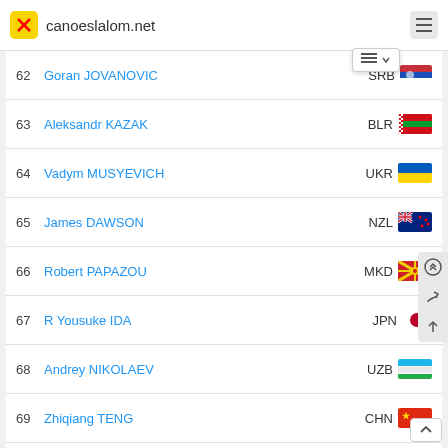canoeslalom.net
| Rank | Name | Country |
| --- | --- | --- |
| 62 | Goran JOVANOVIC | SRB |
| 63 | Aleksandr KAZAK | BLR |
| 64 | Vadym MUSYEVICH | UKR |
| 65 | James DAWSON | NZL |
| 66 | Robert PAPAZOU | MKD |
| 67 | R Yousuke IDA | JPN |
| 68 | Andrey NIKOLAEV | UZB |
| 69 | Zhiqiang TENG | CHN |
| 70 | Andrea BENETTI | ITA |
| 71 | Jose CARVALHO | POR |